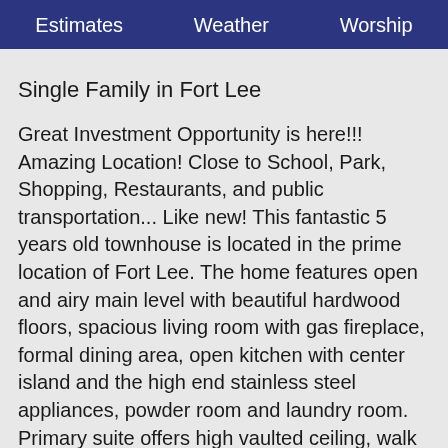Estimates   Weather   Worship
Single Family in Fort Lee
Great Investment Opportunity is here!!! Amazing Location! Close to School, Park, Shopping, Restaurants, and public transportation... Like new! This fantastic 5 years old townhouse is located in the prime location of Fort Lee. The home features open and airy main level with beautiful hardwood floors, spacious living room with gas fireplace, formal dining area, open kitchen with center island and the high end stainless steel appliances, powder room and laundry room. Primary suite offers high vaulted ceiling, walk in closet, primary bath with walk-in showers and free standing soaking tub. 2 additional bedrooms and a full bath completes 2nd floor. Ground floor finished with entry foyer with coat closet, recreation/office/4th bedroom, 1/2 bath, attached garage and a separate entrance. Don't miss out on this great opportunity